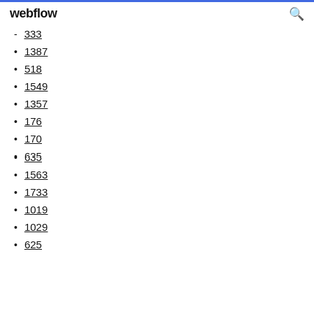webflow
333
1387
518
1549
1357
176
170
635
1563
1733
1019
1029
625